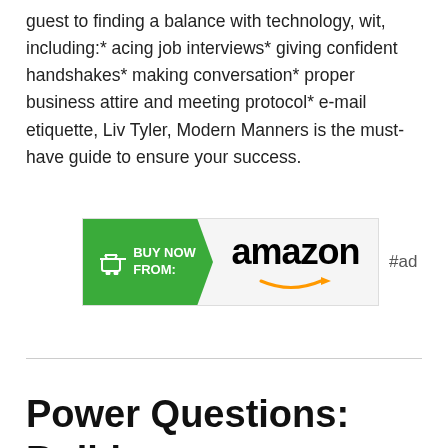guest to finding a balance with technology, wit, including:* acing job interviews* giving confident handshakes* making conversation* proper business attire and meeting protocol* e-mail etiquette, Liv Tyler, Modern Manners is the must-have guide to ensure your success.
[Figure (other): Amazon 'Buy Now From' advertisement button with green arrow on left containing shopping cart icon and 'BUY NOW FROM:' text, and Amazon logo with orange smile arrow on right, followed by '#ad' label]
Power Questions: Build